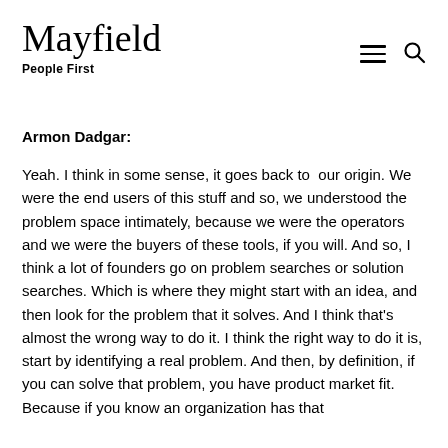Mayfield
People First
Armon Dadgar:
Yeah. I think in some sense, it goes back to  our origin. We were the end users of this stuff and so, we understood the problem space intimately, because we were the operators and we were the buyers of these tools, if you will. And so, I think a lot of founders go on problem searches or solution searches. Which is where they might start with an idea, and then look for the problem that it solves. And I think that's almost the wrong way to do it. I think the right way to do it is, start by identifying a real problem. And then, by definition, if you can solve that problem, you have product market fit. Because if you know an organization has that